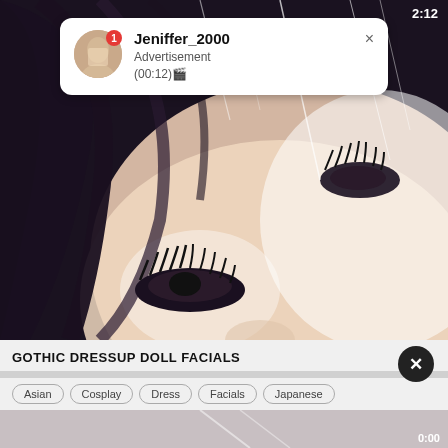[Figure (screenshot): Close-up video frame of a person's face with dark hair, dramatic eye makeup, wet/rain effect. Dark background with light effects.]
2:12
Jeniffer_2000
Advertisement
(00:12)🎬
GOTHIC DRESSUP DOLL FACIALS
Asian   Cosplay   Dress   Facials   Japanese
[Figure (screenshot): Partially visible second video thumbnail with timestamp 0:00]